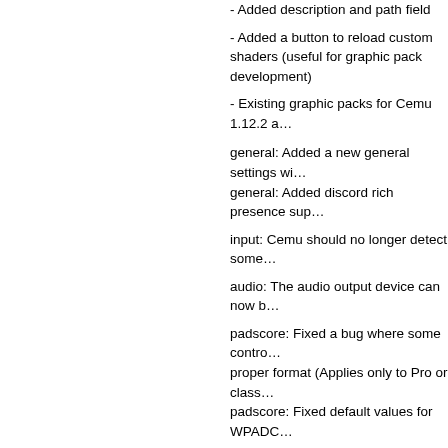- Added description and path field
- Added a button to reload custom shaders (useful for graphic pack development)
- Existing graphic packs for Cemu 1.12.2 a…
general: Added a new general settings wi…
general: Added discord rich presence sup…
input: Cemu should no longer detect some…
audio: The audio output device can now b…
padscore: Fixed a bug where some contro…
proper format (Applies only to Pro or class…
padscore: Fixed default values for WPADC…
http://cemu.info/releases/cemu_1.13.0.zip
To read more of the post and Download, cli…
Join In and Discuss Here
Submit News and Releases Here and Contact…
Nintaco 20180804 released…
August 22nd, 2018, 00:13 Posted By: wraggst…
News via http://www.emulation64.com/view/28…
Nintaco is a work in progress. It is a NES-Fam… cross-platform. The full source will be made av…